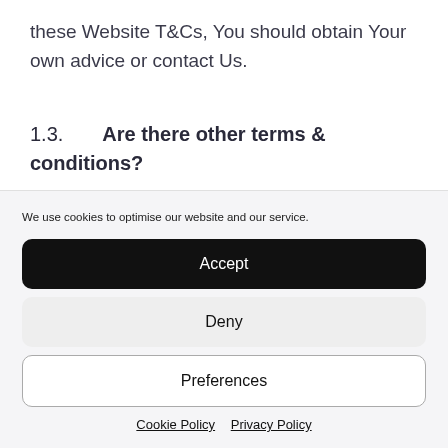these Website T&Cs, You should obtain Your own advice or contact Us.
1.3.    Are there other terms & conditions?
We use cookies to optimise our website and our service.
Accept
Deny
Preferences
Cookie Policy  Privacy Policy